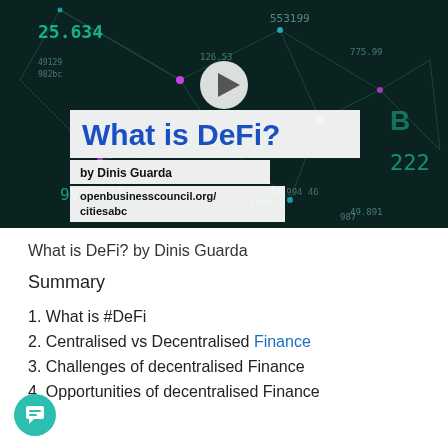[Figure (screenshot): Video thumbnail showing a dark network/data visualization background with glowing nodes and connecting lines. Overlaid white boxes show title 'What is DeFi?' in bold blue text, 'by Dinis Guarda', and 'openbusinesscouncil.org/citiesabc'. A white play button circle is visible in the center.]
What is DeFi? by Dinis Guarda
Summary
1. What is #DeFi
2. Centralised vs Decentralised Finance
3. Challenges of decentralised Finance
4. Opportunities of decentralised Finance